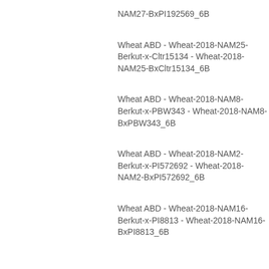NAM27-BxPI192569_6B
Wheat ABD - Wheat-2018-NAM25-Berkut-x-Cltr15134 - Wheat-2018-NAM25-BxCltr15134_6B
Wheat ABD - Wheat-2018-NAM8-Berkut-x-PBW343 - Wheat-2018-NAM8-BxPBW343_6B
Wheat ABD - Wheat-2018-NAM2-Berkut-x-PI572692 - Wheat-2018-NAM2-BxPI572692_6B
Wheat ABD - Wheat-2018-NAM16-Berkut-x-PI8813 - Wheat-2018-NAM16-BxPI8813_6B